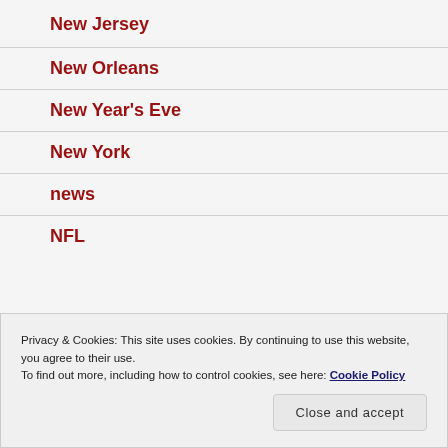New Jersey
New Orleans
New Year's Eve
New York
news
NFL
Privacy & Cookies: This site uses cookies. By continuing to use this website, you agree to their use.
To find out more, including how to control cookies, see here: Cookie Policy
Close and accept
Nicolas Cage